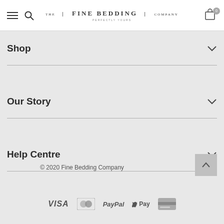The Fine Bedding Company
Shop
Our Story
Help Centre
© 2020 Fine Bedding Company
[Figure (logo): Payment icons: VISA, Mastercard, PayPal, Apple Pay, generic card]